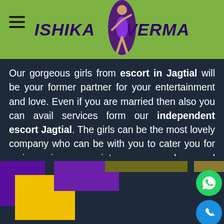ISHIKA VERMA
Our gorgeous girls from escort in Jagtial will be your former partner for your entertainment and love. Even if you are married then also you can avail services form our independent escort Jagtial. The girls can be the most lovely company who can be with you to cater you for various immense intercourse and sexual requirements.
[Figure (photo): Decorative colored blocks (purple, yellow, olive) with a photo of a woman smiling, posed lying down]